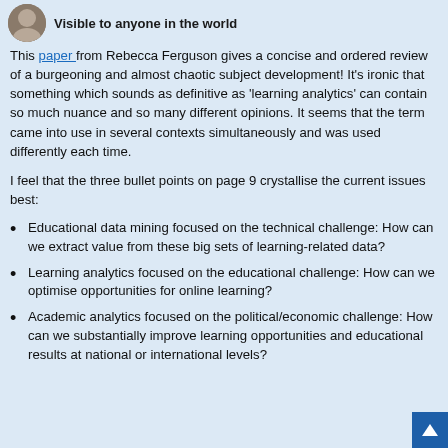Visible to anyone in the world
This paper from Rebecca Ferguson gives a concise and ordered review of a burgeoning and almost chaotic subject development! It's ironic that something which sounds as definitive as 'learning analytics' can contain so much nuance and so many different opinions. It seems that the term came into use in several contexts simultaneously and was used differently each time.
I feel that the three bullet points on page 9 crystallise the current issues best:
Educational data mining focused on the technical challenge: How can we extract value from these big sets of learning-related data?
Learning analytics focused on the educational challenge: How can we optimise opportunities for online learning?
Academic analytics focused on the political/economic challenge: How can we substantially improve learning opportunities and educational results at national or international levels?